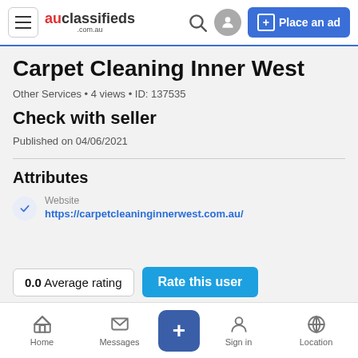auclassifieds .com.au | Place an ad
Carpet Cleaning Inner West
Other Services • 4 views • ID: 137535
Check with seller
Published on 04/06/2021
Attributes
Website
https://carpetcleaninginnerwest.com.au/
0.0 Average rating
Rate this user
Home | Messages | + | Sign in | Location